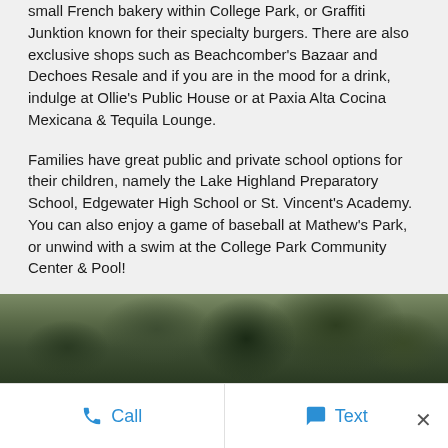small French bakery within College Park, or Graffiti Junktion known for their specialty burgers. There are also exclusive shops such as Beachcomber's Bazaar and Dechoes Resale and if you are in the mood for a drink, indulge at Ollie's Public House or at Paxia Alta Cocina Mexicana & Tequila Lounge.
Families have great public and private school options for their children, namely the Lake Highland Preparatory School, Edgewater High School or St. Vincent's Academy. You can also enjoy a game of baseball at Mathew's Park, or unwind with a swim at the College Park Community Center & Pool!
College Park is the perfect family-friendly neighborhood conveniently located near everything you need. With its long, scenic brick streets with towering oak trees, snug bungalows, and lakefront lots, along with the mouthwatering cuisine, top educational choices, shopping, and various forms of entertainment, how could you ever bear to leave?
[Figure (photo): Outdoor photo showing tall trees and lush green foliage, partially visible at the bottom of the page]
Call   Text